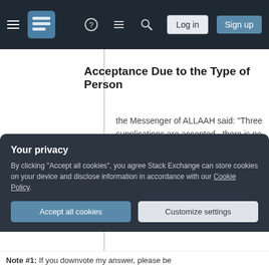Stack Exchange navigation bar with Log in and Sign up buttons
Acceptance Due to the Type of Person
the Messenger of ALLAAH said: "Three supplications are accepted , there is no doubt in them (about them being accepted): The supplication of the oppressed, the supplication of the traveler, and the supplication of his father against his son."
Your privacy
By clicking "Accept all cookies", you agree Stack Exchange can store cookies on your device and disclose information in accordance with our Cookie Policy.
Note #1: If you downvote my answer, please be